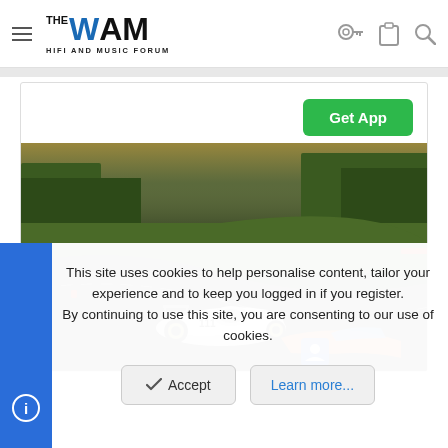THE WAM HIFI AND MUSIC FORUM
[Figure (screenshot): White open-wheel racing car on a race track with green scenery and a 'Get App' button overlay in the top right]
This site uses cookies to help personalise content, tailor your experience and to keep you logged in if you register.
By continuing to use this site, you are consenting to our use of cookies.
Accept
Learn more...